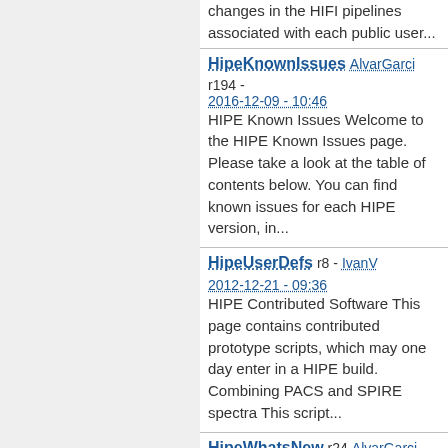changes in the HIFI pipelines associated with each public user...
HipeKnownIssues   AlvarGarci
r194 - 2016-12-09 - 10:46
HIPE Known Issues Welcome to the HIPE Known Issues page. Please take a look at the table of contents below. You can find known issues for each HIPE version, in...
HipeUserDefs   r8 - IvanV
2012-12-21 - 09:36
HIPE Contributed Software This page contains contributed prototype scripts, which may one day enter in a HIPE build. Combining PACS and SPIRE spectra This script...
HipeWhatsNew   r24   AlvarGarci